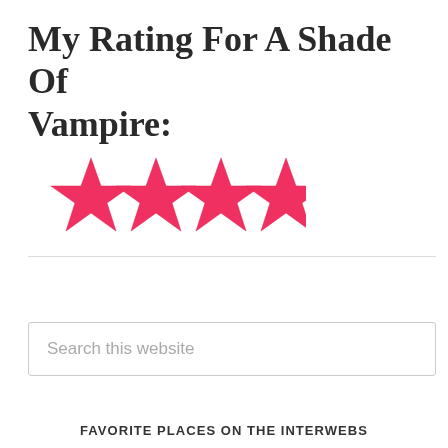My Rating For A Shade Of Vampire:
[Figure (other): Four red/pink star rating icons arranged horizontally]
Search this website
FAVORITE PLACES ON THE INTERWEBS